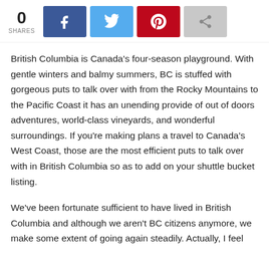[Figure (infographic): Social sharing bar with share count of 0, Facebook, Twitter, Pinterest, and generic share buttons]
British Columbia is Canada's four-season playground. With gentle winters and balmy summers, BC is stuffed with gorgeous puts to talk over with from the Rocky Mountains to the Pacific Coast it has an unending provide of out of doors adventures, world-class vineyards, and wonderful surroundings. If you're making plans a travel to Canada's West Coast, those are the most efficient puts to talk over with in British Columbia so as to add on your shuttle bucket listing.
We've been fortunate sufficient to have lived in British Columbia and although we aren't BC citizens anymore, we make some extent of going again steadily. Actually, I feel